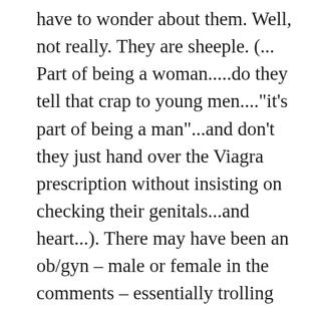have to wonder about them. Well, not really. They are sheeple. (... Part of being a woman.....do they tell that crap to young men...."it's part of being a man"...and don't they just hand over the Viagra prescription without insisting on checking their genitals...and heart...). There may have been an ob/gyn – male or female in the comments – essentially trolling her testimony.